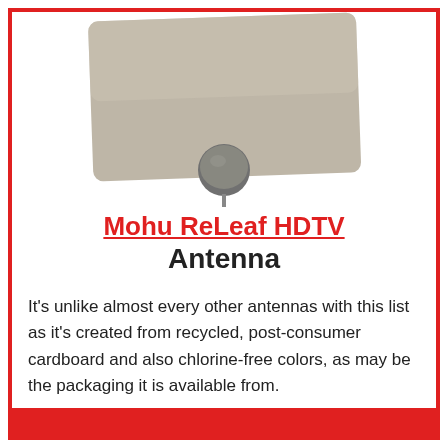[Figure (photo): Photo of a flat HDTV antenna (Mohu ReLeaf) shown from an angle, with a beige/tan rectangular flat panel and a round dark grey circular base/stand connector, against a white background.]
Mohu ReLeaf HDTV Antenna
It's unlike almost every other antennas with this list as it's created from recycled, post-consumer cardboard and also chlorine-free colors, as may be the packaging it is available from.